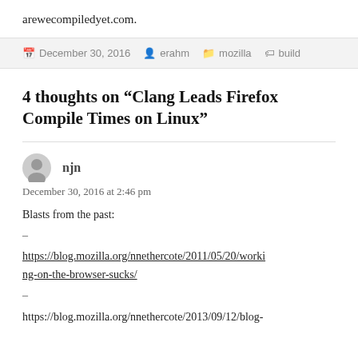arewecompiledyet.com.
December 30, 2016  erahm  mozilla  build
4 thoughts on “Clang Leads Firefox Compile Times on Linux”
njn
December 30, 2016 at 2:46 pm
Blasts from the past:
–
https://blog.mozilla.org/nnethercote/2011/05/20/working-on-the-browser-sucks/
–
https://blog.mozilla.org/nnethercote/2013/09/12/blog-